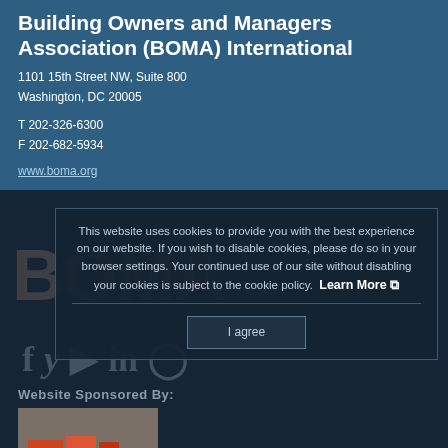Building Owners and Managers Association (BOMA) International
1101 15th Street NW, Suite 800
Washington, DC 20005
T 202-326-6300
F 202-682-5934
www.boma.org
This website uses cookies to provide you with the best experience on our website. If you wish to disable cookies, please do so in your browser settings. Your continued use of our site without disabling your cookies is subject to the cookie policy. Learn More
I agree
Website Sponsored By:
[Figure (logo): Sponsor logo placeholder]